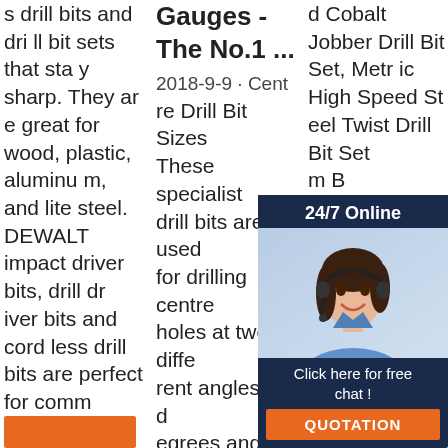s drill bits and drill bit sets that stay sharp. They are great for wood, plastic, aluminum, and lite steel. DEWALT impact driver bits, drill driver bits and cordless drill bits are perfect for commercial, residential, and hobby applications. DEWALT drill bits …
Gauges - The No.1 ...
2018-9-9 · Centre Drill Bit Sizes These specialist drill bits are used for drilling centre holes at two different angles, 60 degrees and90 degrees. They are commonly used to drill lathe centres and spotting drills, i.e.marking holes to guide twist drilling. The dr
d Cobalt Jobber Drill Bit Set, Metric High Speed Steel Twist Drill Bit Set, m B at P Stra or S l, M Pla f 5 s 2.59. £12. . 59. 5% voucher applied at checkout. Save 5% with voucher.
[Figure (other): Chat widget overlay with woman wearing headset, '24/7 Online' header, 'Click here for free chat!' text, and orange QUOTATION button]
[Figure (other): Orange button at bottom left of first column]